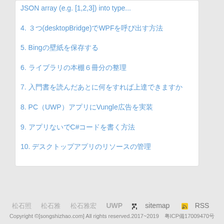JSON array (e.g. [1,2,3]) into type...
4. ３つ(desktopBridge)でWPFを呼び出す方法
5. Bingの壁紙を保存する
6. ライブラリの本棚６冊分の整理
7. 入門書を読んだあとに何をすれば上達できますか
8. PC（UWP）アプリにVungle広告を実装
9. アプリないでC#コードを書く方法
10. デスクトップアプリのリソースの管理
松石照 　松石雅 　松石雅宏　UWP　sitemap　RSS
Copyright ©[songshizhao.com] All rights reserved.2017~2019　粤ICP備17009470号